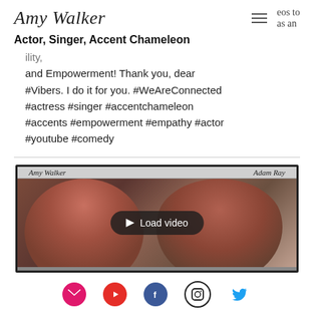Amy Walker — Actor, Singer, Accent Chameleon
eos to   as an   ility,
and Empowerment! Thank you, dear #Vibers. I do it for you. #WeAreConnected #actress #singer #accentchameleon #accents #empowerment #empathy #actor #youtube #comedy
[Figure (screenshot): Video thumbnail showing Amy Walker and Adam Ray, with a 'Load video' overlay button. Below are social media icons: email, YouTube, Facebook, Instagram, Twitter.]